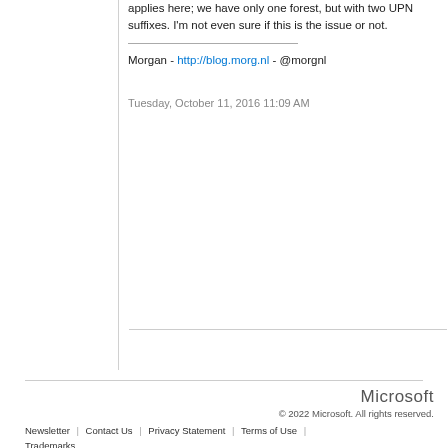applies here; we have only one forest, but with two UPN suffixes. I'm not even sure if this is the issue or not.
Morgan - http://blog.morg.nl - @morgnl
Tuesday, October 11, 2016 11:09 AM
Microsoft © 2022 Microsoft. All rights reserved. Newsletter | Contact Us | Privacy Statement | Terms of Use | Trademarks